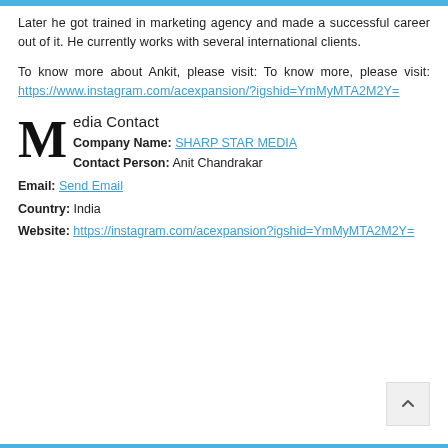Later he got trained in marketing agency and made a successful career out of it. He currently works with several international clients.
To know more about Ankit, please visit: To know more, please visit: https://www.instagram.com/acexpansion/?igshid=YmMyMTA2M2Y=
Media Contact
Company Name: SHARP STAR MEDIA
Contact Person: Anit Chandrakar
Email: Send Email
Country: India
Website: https://instagram.com/acexpansion?igshid=YmMyMTA2M2Y=